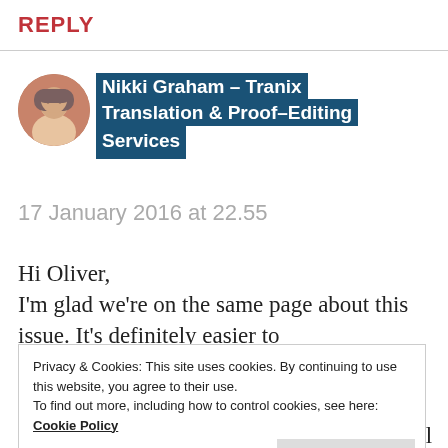REPLY
Nikki Graham – Tranix Translation & Proof-Editing Services
17 January 2016 at 22.55
Hi Oliver,
I'm glad we're on the same page about this issue. It's definitely easier to
Privacy & Cookies: This site uses cookies. By continuing to use this website, you agree to their use.
To find out more, including how to control cookies, see here:
Cookie Policy
been willing to forget a per-word rate as well during negotiations on price to get